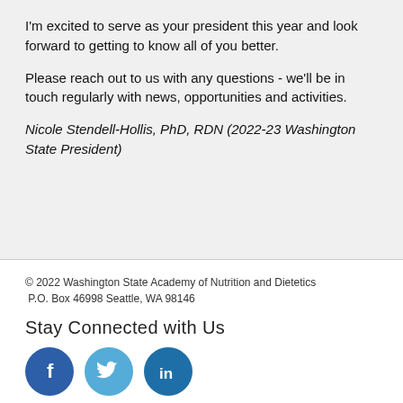I'm excited to serve as your president this year and look forward to getting to know all of you better.
Please reach out to us with any questions - we'll be in touch regularly with news, opportunities and activities.
Nicole Stendell-Hollis, PhD, RDN (2022-23 Washington State President)
© 2022 Washington State Academy of Nutrition and Dietetics P.O. Box 46998 Seattle, WA 98146
Stay Connected with Us
[Figure (infographic): Three social media icons: Facebook (dark blue circle with 'f'), Twitter (light blue circle with bird icon), LinkedIn (medium blue circle with 'in')]
Website design by Dry Wash Media